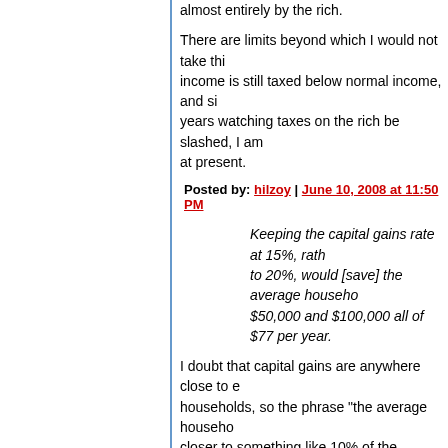almost entirely by the rich.
There are limits beyond which I would not take this: capital gains income is still taxed below normal income, and since I've spent years watching taxes on the rich be slashed, I am not satisfied at present.
Posted by: hilzoy | June 10, 2008 at 11:50 PM
Keeping the capital gains rate at 15%, rather than raising it to 20%, would [save] the average household making between $50,000 and $100,000 all of $77 per year.
I doubt that capital gains are anywhere close to equally distributed among households, so the phrase "the average household" is misleading. It's closer to something like 10% of the households saving $770 and 90% saving $0, or even more skewed.
Posted by: KCinDC | June 10, 2008 at 11:51 PM
No, it's an exaggeration.
It's a 100% false statement. Every part of it is false. Add it to the writer's toolbox- try writing things that are true.